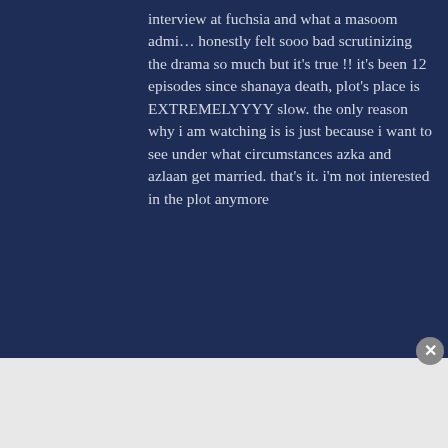interview at fuchsia and what a masoom admi… honestly felt sooo bad scrutinizing the drama so much but it's true !! it's been 12 episodes since shanaya death, plot's place is EXTREMELYYYY slow. the only reason why i am watching is is just because i want to see under what circumstances azka and azlaan get married. that's it. i'm not interested in the plot anymore
[Figure (photo): MAC cosmetics advertisement banner showing lipsticks in purple, peach, pink and red colors with MAC logo and SHOP NOW text]
Advertisements